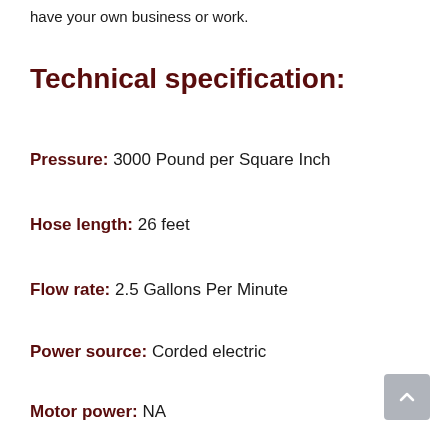have your own business or work.
Technical specification:
Pressure: 3000 Pound per Square Inch
Hose length: 26 feet
Flow rate: 2.5 Gallons Per Minute
Power source: Corded electric
Motor power: NA
Features: